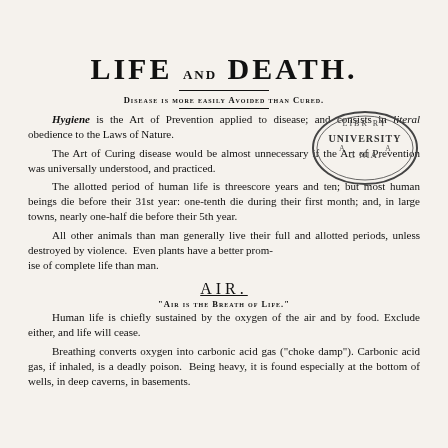LIFE AND DEATH.
DISEASE IS MORE EASILY AVOIDED THAN CURED.
[Figure (other): Oval library stamp reading 'LIBRARY UNIVERSITY CALIFORNIA']
Hygiene is the Art of Prevention applied to disease; and consists in literal obedience to the Laws of Nature.
The Art of Curing disease would be almost unnecessary if the Art of Prevention was universally understood, and practiced.
The allotted period of human life is threescore years and ten; but most human beings die before their 31st year: one-tenth die during their first month; and, in large towns, nearly one-half die before their 5th year.
All other animals than man generally live their full and allotted periods, unless destroyed by violence. Even plants have a better promise of complete life than man.
AIR.
"AIR IS THE BREATH OF LIFE."
Human life is chiefly sustained by the oxygen of the air and by food. Exclude either, and life will cease.
Breathing converts oxygen into carbonic acid gas ("choke damp"). Carbonic acid gas, if inhaled, is a deadly poison. Being heavy, it is found especially at the bottom of wells, in deep caverns, in basements.